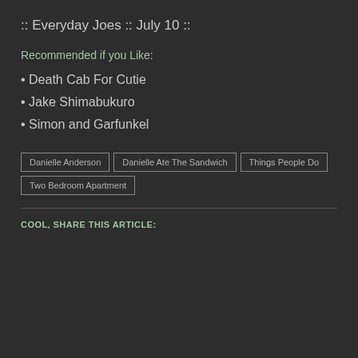:: Everyday Joes :: July 10 ::
Recommended if you Like:
• Death Cab For Cutie
• Jake Shimabukuro
• Simon and Garfunkel
Danielle Anderson | Danielle Ate The Sandwich | Things People Do | Two Bedroom Apartment
COOL, SHARE THIS ARTICLE: